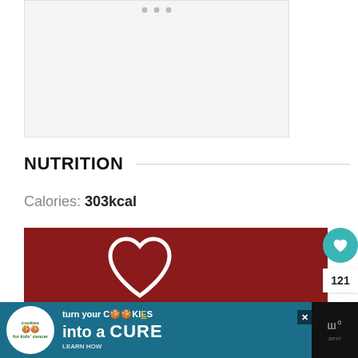[Figure (screenshot): Gray placeholder image area with three small gray dots at the top center]
NUTRITION
Calories: 303kcal
[Figure (illustration): Red banner with white heart outline icon and partially visible text 'Tried this recipe?' with teal favorite button showing heart icon, count 121, and share button]
[Figure (screenshot): Advertisement banner: cookies for kids cancer - turn your cookies into a CURE LEARN HOW, with close X button and dark right panel]